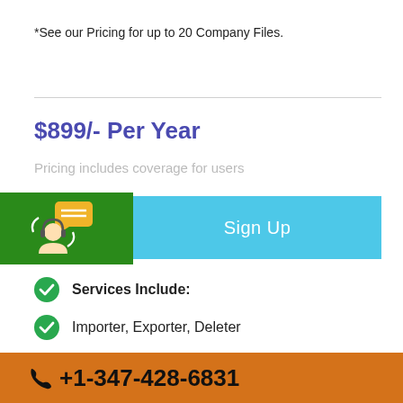*See our Pricing for up to 20 Company Files.
$899/- Per Year
Pricing includes coverage for users
Sign Up
Services Include:
Importer, Exporter, Deleter
Unlimited Users
+1-347-428-6831